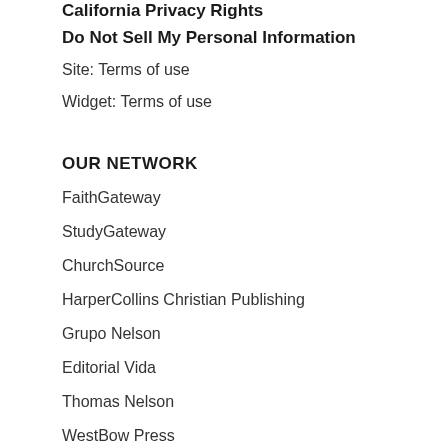California Privacy Rights
Do Not Sell My Personal Information
Site: Terms of use
Widget: Terms of use
OUR NETWORK
FaithGateway
StudyGateway
ChurchSource
HarperCollins Christian Publishing
Grupo Nelson
Editorial Vida
Thomas Nelson
WestBow Press
Zondervan